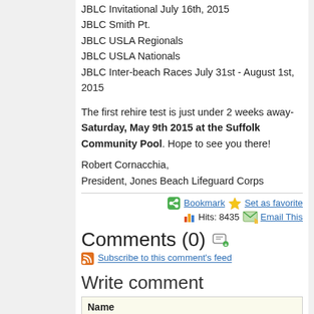JBLC Invitational July 16th, 2015
JBLC Smith Pt.
JBLC USLA Regionals
JBLC USLA Nationals
JBLC Inter-beach Races July 31st - August 1st, 2015
The first rehire test is just under 2 weeks away- Saturday, May 9th 2015 at the Suffolk Community Pool.  Hope to see you there!
Robert Cornacchia,
President, Jones Beach Lifeguard Corps
Bookmark  Set as favorite  Hits: 8435  Email This
Comments (0)
Subscribe to this comment's feed
Write comment
Name